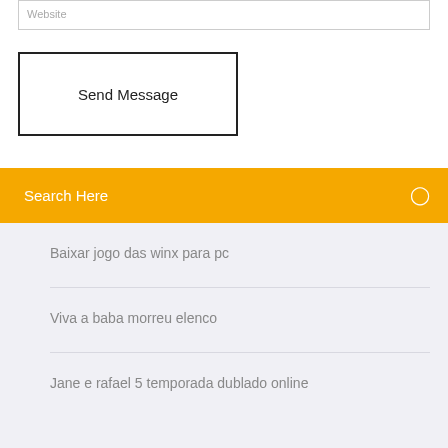Website
Send Message
Search Here
Baixar jogo das winx para pc
Viva a baba morreu elenco
Jane e rafael 5 temporada dublado online